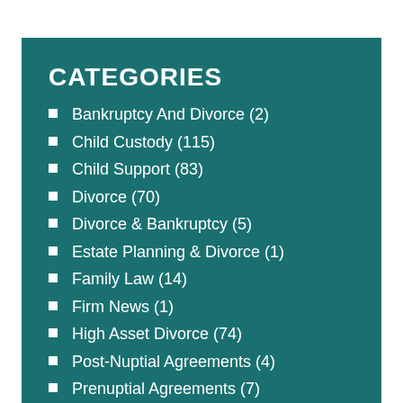CATEGORIES
Bankruptcy And Divorce (2)
Child Custody (115)
Child Support (83)
Divorce (70)
Divorce & Bankruptcy (5)
Estate Planning & Divorce (1)
Family Law (14)
Firm News (1)
High Asset Divorce (74)
Post-Nuptial Agreements (4)
Prenuptial Agreements (7)
Property Division (53)